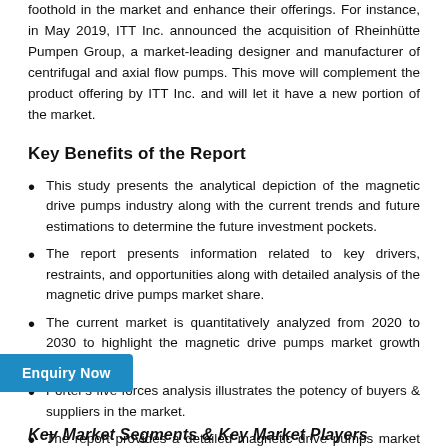foothold in the market and enhance their offerings. For instance, in May 2019, ITT Inc. announced the acquisition of Rheinhütte Pumpen Group, a market-leading designer and manufacturer of centrifugal and axial flow pumps. This move will complement the product offering by ITT Inc. and will let it have a new portion of the market.
Key Benefits of the Report
This study presents the analytical depiction of the magnetic drive pumps industry along with the current trends and future estimations to determine the future investment pockets.
The report presents information related to key drivers, restraints, and opportunities along with detailed analysis of the magnetic drive pumps market share.
The current market is quantitatively analyzed from 2020 to 2030 to highlight the magnetic drive pumps market growth scenario.
Porter's five forces analysis illustrates the potency of buyers & suppliers in the market.
The report provides a detailed magnetic drive pumps market based on competitive intensity and how the competition will take shape in coming years.
Key Market Segments & Key Market Players